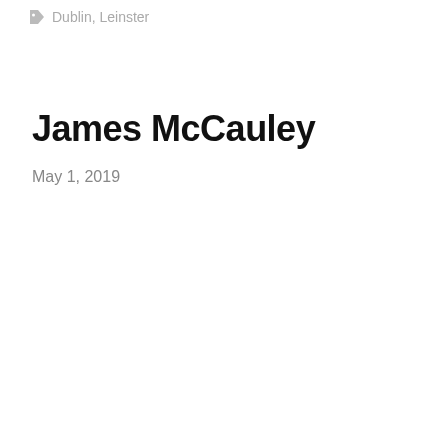Dublin, Leinster
James McCauley
May 1, 2019